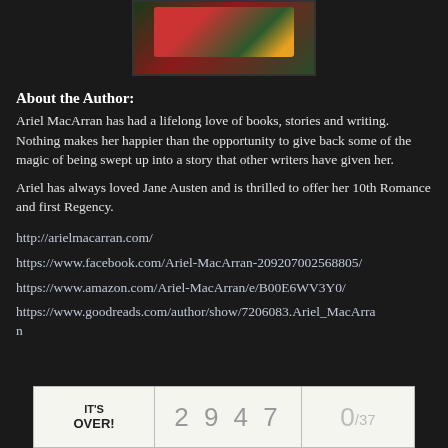[Figure (photo): Author photo showing a person in a red top with yellow flowers in the background]
About the Author:
Ariel MacArran has had a lifelong love of books, stories and writing. Nothing makes her happier than the opportunity to give back some of the magic of being swept up into a story that other writers have given her.
Ariel has always loved Jane Austen and is thrilled to offer her 10th Romance and first Regency.
http://arielmacarran.com/
https://www.facebook.com/Ariel-MacArran-209207002568805/
https://www.amazon.com/Ariel-MacArran/e/B00E6WV3Y0/
https://www.goodreads.com/author/show/7206083.Ariel_MacArran
[Figure (infographic): Bottom bar showing IT'S OVER! label, number 2947, and 0/37 counter]